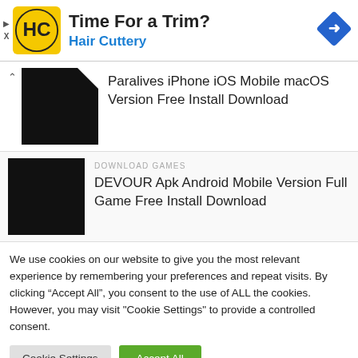[Figure (infographic): Advertisement banner for Hair Cuttery with logo, text 'Time For a Trim? Hair Cuttery', and a blue navigation arrow icon. Small play and close icons on the left.]
Paralives iPhone iOS Mobile macOS Version Free Install Download
DOWNLOAD GAMES
DEVOUR Apk Android Mobile Version Full Game Free Install Download
We use cookies on our website to give you the most relevant experience by remembering your preferences and repeat visits. By clicking “Accept All”, you consent to the use of ALL the cookies. However, you may visit "Cookie Settings" to provide a controlled consent.